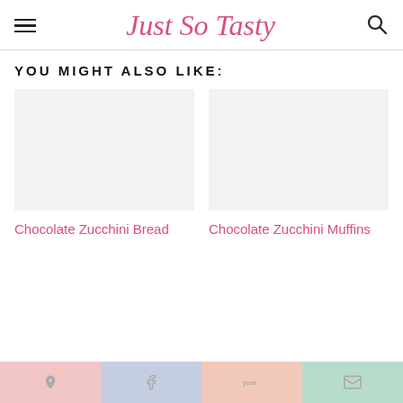Just So Tasty
YOU MIGHT ALSO LIKE:
[Figure (photo): Placeholder image for Chocolate Zucchini Bread article thumbnail]
Chocolate Zucchini Bread
[Figure (photo): Placeholder image for Chocolate Zucchini Muffins article thumbnail]
Chocolate Zucchini Muffins
Pinterest | Facebook | Yummly | Email social share bar